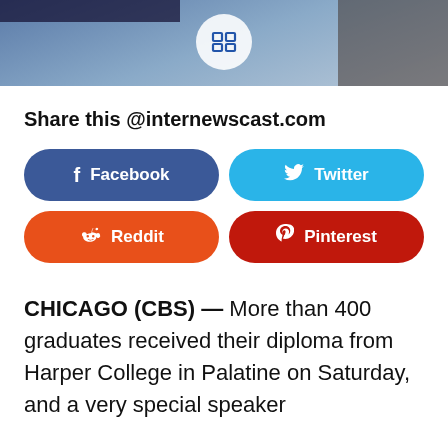[Figure (photo): Photograph of a graduation ceremony stage with blue backdrop, white circular logo/badge, and a person visible on the right side]
Share this @internewscast.com
[Figure (infographic): Social share buttons: Facebook (dark blue), Twitter (light blue), Reddit (orange), Pinterest (dark red)]
CHICAGO (CBS) — More than 400 graduates received their diploma from Harper College in Palatine on Saturday, and a very special speaker